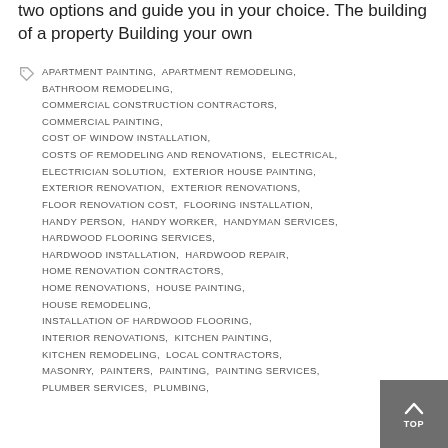two options and guide you in your choice. The building of a property Building your own
APARTMENT PAINTING, APARTMENT REMODELING, BATHROOM REMODELING, COMMERCIAL CONSTRUCTION CONTRACTORS, COMMERCIAL PAINTING, COST OF WINDOW INSTALLATION, COSTS OF REMODELING AND RENOVATIONS, ELECTRICAL, ELECTRICIAN SOLUTION, EXTERIOR HOUSE PAINTING, EXTERIOR RENOVATION, EXTERIOR RENOVATIONS, FLOOR RENOVATION COST, FLOORING INSTALLATION, HANDY PERSON, HANDY WORKER, HANDYMAN SERVICES, HARDWOOD FLOORING SERVICES, HARDWOOD INSTALLATION, HARDWOOD REPAIR, HOME RENOVATION CONTRACTORS, HOME RENOVATIONS, HOUSE PAINTING, HOUSE REMODELING, INSTALLATION OF HARDWOOD FLOORING, INTERIOR RENOVATIONS, KITCHEN PAINTING, KITCHEN REMODELING, LOCAL CONTRACTORS, MASONRY, PAINTERS, PAINTING, PAINTING SERVICES, PLUMBER SERVICES, PLUMBING,